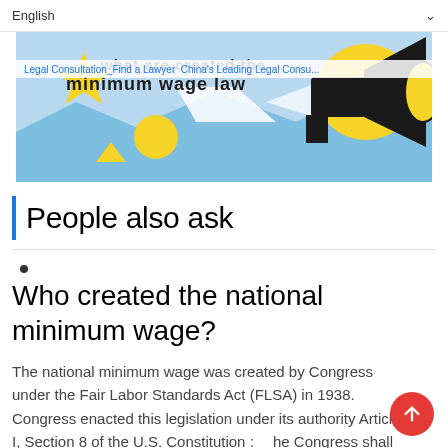English
[Figure (illustration): Colorful banner illustration with bold text 'What are created the minimum wage law' overlaid on a blue, yellow and black graphic with a megaphone icon. Navigation bar reads: Legal Consultation_Find a Lawyer_China's Leading Legal Consultation...]
People also ask
Who created the national minimum wage?
The national minimum wage was created by Congress under the Fair Labor Standards Act (FLSA) in 1938. Congress enacted this legislation under its authority Article I, Section 8 of the U.S. Constitution : 「he Congress shall have power…